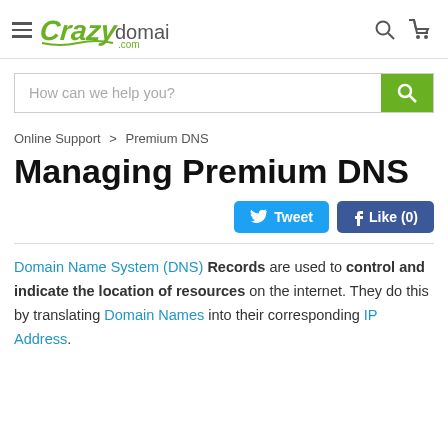Crazy domains .com
[Figure (screenshot): Search bar with placeholder text 'How can we help you?' and a green search button]
Online Support > Premium DNS
Managing Premium DNS
[Figure (infographic): Tweet and Like (0) social sharing buttons]
Domain Name System (DNS) Records are used to control and indicate the location of resources on the internet. They do this by translating Domain Names into their corresponding IP Address.